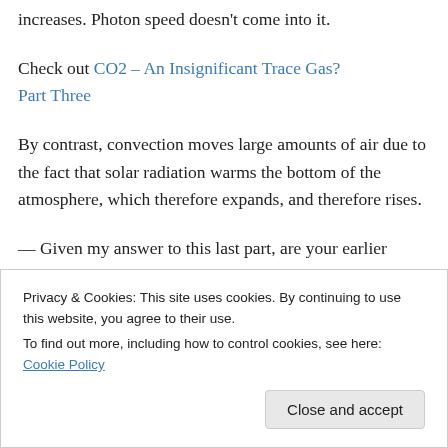increases. Photon speed doesn't come into it.
Check out CO2 – An Insignificant Trace Gas? Part Three
By contrast, convection moves large amounts of air due to the fact that solar radiation warms the bottom of the atmosphere, which therefore expands, and therefore rises.
— Given my answer to this last part, are your earlier questions still valid because I didn't really
Privacy & Cookies: This site uses cookies. By continuing to use this website, you agree to their use.
To find out more, including how to control cookies, see here: Cookie Policy
Close and accept